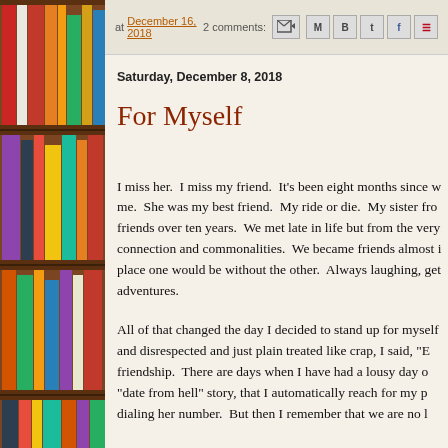[Figure (illustration): Bookshelf with colorful books on the left side of the page]
at December 16, 2018   2 comments:
Saturday, December 8, 2018
For Myself
I miss her.  I miss my friend.  It's been eight months since we spoke. She was my best friend.  My ride or die.  My sister from another mister.  We had been friends over ten years.  We met late in life but from the very beginning, we had a special connection and commonalities.  We became friends almost instantly and it was rare to be in a place one would be without the other.  Always laughing, getting into things, having adventures.
All of that changed the day I decided to stand up for myself.  After being ignored and disrespected and just plain treated like crap, I said, "Enough".  I miss the friendship.  There are days when I have had a lousy day or I have the most hilarious "date from hell" story, that I automatically reach for my phone and start dialing her number.  But then I remember that we are no longer friends.